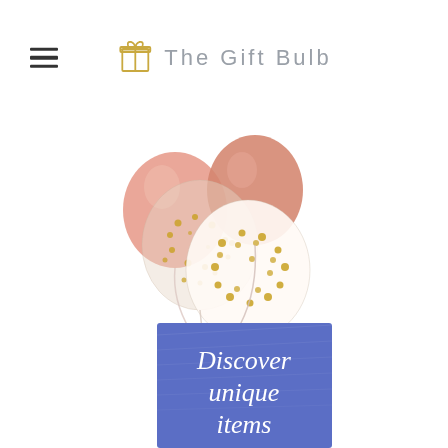The Gift Bulb
[Figure (photo): A cluster of rose gold and white balloons with gold confetti dots, with strings hanging down, displayed above a blue banner]
Discover unique items